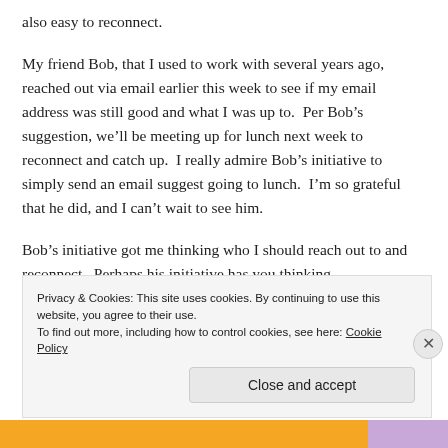also easy to reconnect.
My friend Bob, that I used to work with several years ago, reached out via email earlier this week to see if my email address was still good and what I was up to.  Per Bob’s suggestion, we’ll be meeting up for lunch next week to reconnect and catch up.  I really admire Bob’s initiative to simply send an email suggest going to lunch.  I’m so grateful that he did, and I can’t wait to see him.
Bob’s initiative got me thinking who I should reach out to and reconnect.  Perhaps his initiative has you thinking
Privacy & Cookies: This site uses cookies. By continuing to use this website, you agree to their use.
To find out more, including how to control cookies, see here: Cookie Policy
Close and accept